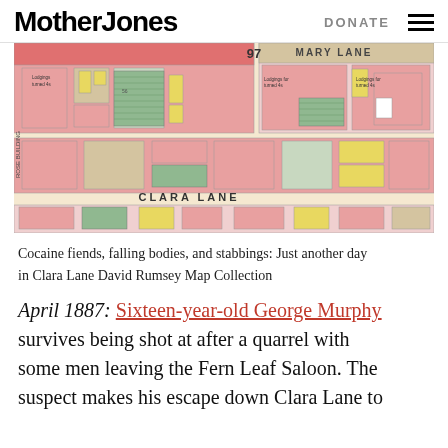Mother Jones | DONATE
[Figure (map): Historical Sanborn-style fire insurance map showing Clara Lane and Mary Lane in San Francisco, with color-coded building footprints in pink, green, yellow, and white. Labels include '97', 'MARY LANE', 'CLARA LANE', 'ROSE BUILDING', and various property notations.]
Cocaine fiends, falling bodies, and stabbings: Just another day in Clara Lane David Rumsey Map Collection
April 1887: Sixteen-year-old George Murphy survives being shot at after a quarrel with some men leaving the Fern Leaf Saloon. The suspect makes his escape down Clara Lane to